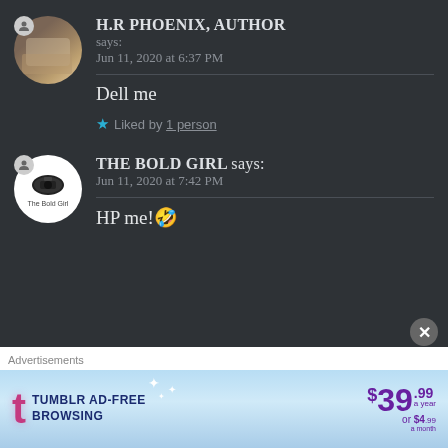H.R PHOENIX, AUTHOR says: Jun 11, 2020 at 6:37 PM
Dell me
★ Liked by 1 person
THE BOLD GIRL says: Jun 11, 2020 at 7:42 PM
HP me!🤣
Advertisements
[Figure (screenshot): Tumblr Ad-Free Browsing advertisement banner showing price $39.99/year or $4.99/month]